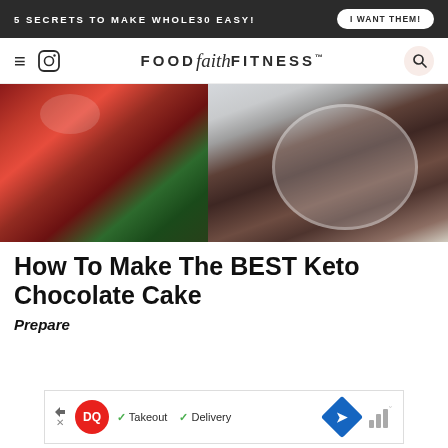5 SECRETS TO MAKE WHOLE30 EASY! | I WANT THEM!
FOOD faith FITNESS™
[Figure (photo): Overhead photo of a slice of chocolate layer cake on a white plate with a fork, surrounded by red roses and white baby's breath flowers]
How To Make The BEST Keto Chocolate Cake
Prepare
[Figure (other): Advertisement banner for Dairy Queen (DQ) showing logo with checkmarks for Takeout and Delivery options, navigation arrow icon]